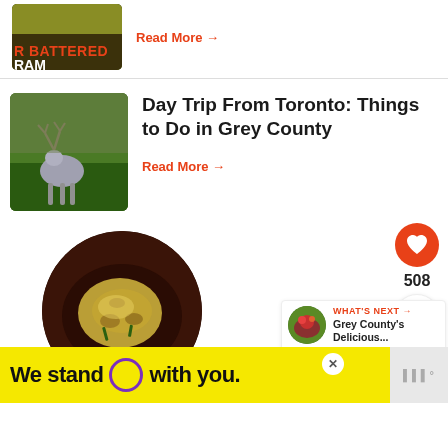[Figure (photo): Partial view of a food/nature image at top, with text overlay 'R BATTERED RAMP' in orange/white letters]
Read More →
[Figure (photo): A caribou/elk standing in a green field]
Day Trip From Toronto: Things to Do in Grey County
Read More →
[Figure (photo): A circular dark wooden bowl with pasta dish (pappardelle with mushrooms and herbs)]
508
WHAT'S NEXT →
Grey County's Delicious...
We stand O with you.